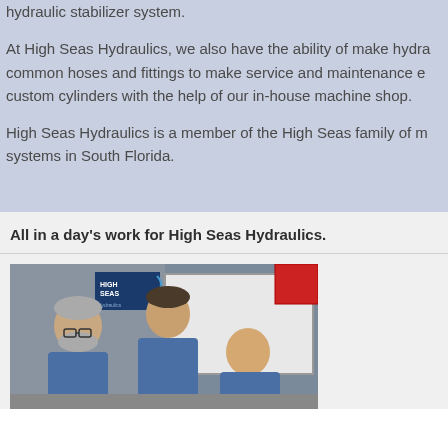hydraulic stabilizer system.
At High Seas Hydraulics, we also have the ability of make hydra common hoses and fittings to make service and maintenance e custom cylinders with the help of our in-house machine shop.
High Seas Hydraulics is a member of the High Seas family of m systems in South Florida.
All in a day's work for High Seas Hydraulics.
[Figure (photo): Three men in blue shirts leaning over and looking at something together in what appears to be a workshop or office with a High Seas Hydraulics sign visible in the background.]